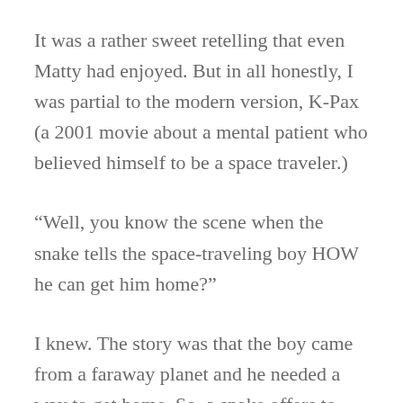It was a rather sweet retelling that even Matty had enjoyed. But in all honestly, I was partial to the modern version, K-Pax (a 2001 movie about a mental patient who believed himself to be a space traveler.)
“Well, you know the scene when the snake tells the space-traveling boy HOW he can get him home?”
I knew. The story was that the boy came from a faraway planet and he needed a way to get home. So, a snake offers to help by biting him. The logic was; a spirit can travel farther and faster than a body. “Are you saying Isaiah’s spirit is still alive somewhere?”